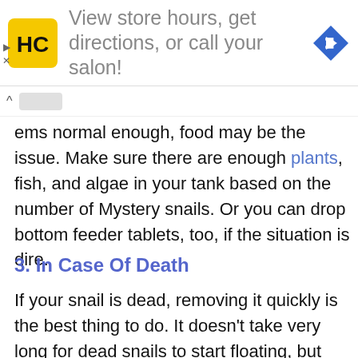[Figure (advertisement): Ad banner with HC logo (yellow square with black HC letters) and text 'View store hours, get directions, or call your salon!' with a blue navigation arrow icon on the right]
ems normal enough, food may be the issue. Make sure there are enough plants, fish, and algae in your tank based on the number of Mystery snails. Or you can drop bottom feeder tablets, too, if the situation is dire.
3. In Case Of Death
If your snail is dead, removing it quickly is the best thing to do. It doesn't take very long for dead snails to start floating, but they'll start to give off unpleasant